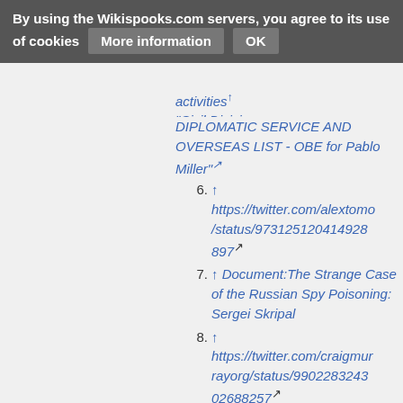By using the Wikispooks.com servers, you agree to its use of cookies   More information   OK
activities↑  "Civil Division DIPLOMATIC SERVICE AND OVERSEAS LIST - OBE for Pablo Miller"↗
6. ↑ https://twitter.com/alextomo/status/973125120414928897↗
7. ↑ Document:The Strange Case of the Russian Spy Poisoning: Sergei Skripal
8. ↑ https://twitter.com/craigmurrayorg/status/990228324302688257↗
9. ↑ https://twitter.com/craigmur